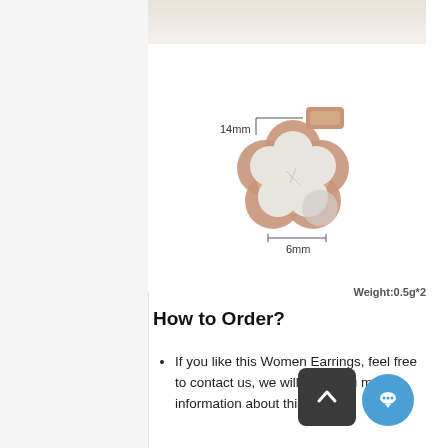[Figure (photo): Top partial product image strip showing white/cream background]
[Figure (engineering-diagram): Flower-shaped rose gold earring stud with white mother-of-pearl inlay, with dimension annotations: 14mm height, 6mm width]
Weight:0.5g*2
How to Order?
If you like this Women Earrings, feel free to contact us, we will send you more information about this ring.